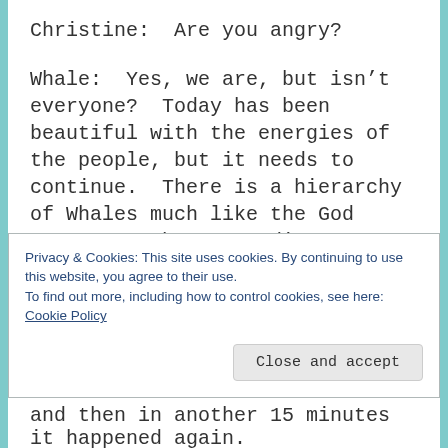Christine:  Are you angry?
Whale:  Yes, we are, but isn’t everyone?  Today has been beautiful with the energies of the people, but it needs to continue.  There is a hierarchy of Whales much like the God Force.  We have guardians, dolphins, and warriors all helping each other.  We are moving North.   People in the northern areas of the country will see us as there will be an influx of the mammals until the conditions can improve, if they will.
Privacy & Cookies: This site uses cookies. By continuing to use this website, you agree to their use.
To find out more, including how to control cookies, see here: Cookie Policy
Close and accept
and then in another 15 minutes it happened again.